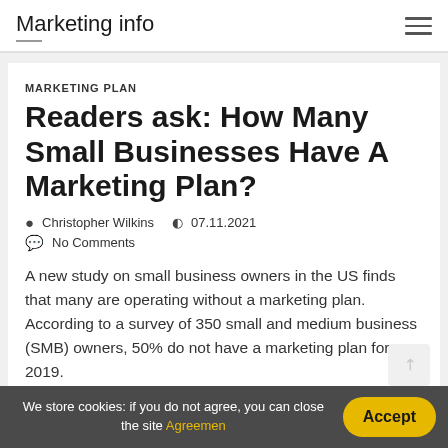Marketing info
MARKETING PLAN
Readers ask: How Many Small Businesses Have A Marketing Plan?
Christopher Wilkins   07.11.2021
No Comments
A new study on small business owners in the US finds that many are operating without a marketing plan. According to a survey of 350 small and medium business (SMB) owners, 50% do not have a marketing plan for 2019.
We store cookies: if you do not agree, you can close the site Agreemen